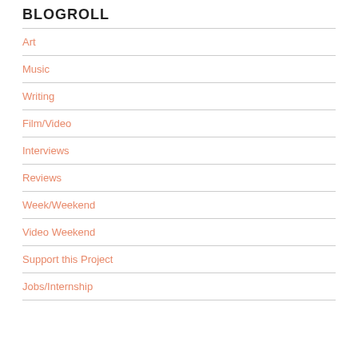BLOGROLL
Art
Music
Writing
Film/Video
Interviews
Reviews
Week/Weekend
Video Weekend
Support this Project
Jobs/Internship